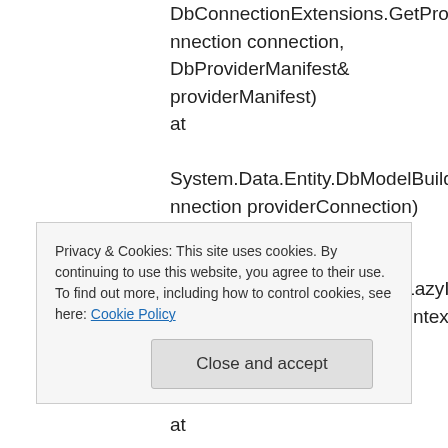DbConnectionExtensions.GetProviderInfo(DbConnection connection, DbProviderManifest& providerManifest)
   at
System.Data.Entity.DbModelBuilder.Build(DbConnection providerConnection)
   at
System.Data.Entity.Internal.LazyInternalContext.CreateModel(LazyInternalContext internalContext)
   at
Privacy & Cookies: This site uses cookies. By continuing to use this website, you agree to their use.
To find out more, including how to control cookies, see here: Cookie Policy